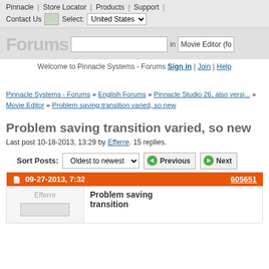Pinnacle | Store Locator | Products | Support | Contact Us  Select: United States
[Figure (screenshot): Forums search bar with text input and 'Movie Editor (fo...' context selector]
Welcome to Pinnacle Systems - Forums Sign in | Join | Help
Pinnacle Systems - Forums » English Forums » Pinnacle Studio 26, also versi... » Movie Editor » Problem saving transition varied, so new
Problem saving transition varied, so new
Last post 10-18-2013, 13:29 by Efferre. 15 replies.
Sort Posts: Oldest to newest  Previous  Next
| 09-27-2013, 7:32 | 605651 |
| --- | --- |
| Efferre | Problem saving transition |